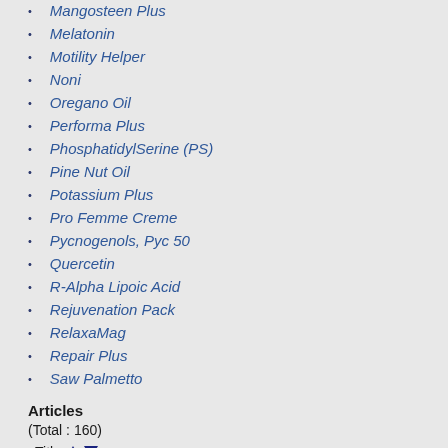Mangosteen Plus
Melatonin
Motility Helper
Noni
Oregano Oil
Performa Plus
PhosphatidylSerine (PS)
Pine Nut Oil
Potassium Plus
Pro Femme Creme
Pycnogenols, Pyc 50
Quercetin
R-Alpha Lipoic Acid
Rejuvenation Pack
RelaxaMag
Repair Plus
Saw Palmetto
Articles
(Total : 160)
Title ▲ ▼